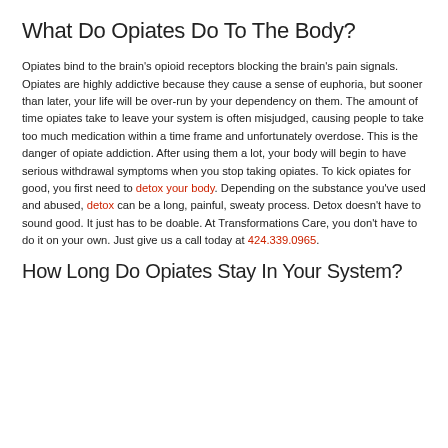What Do Opiates Do To The Body?
Opiates bind to the brain's opioid receptors blocking the brain's pain signals. Opiates are highly addictive because they cause a sense of euphoria, but sooner than later, your life will be over-run by your dependency on them. The amount of time opiates take to leave your system is often misjudged, causing people to take too much medication within a time frame and unfortunately overdose. This is the danger of opiate addiction. After using them a lot, your body will begin to have serious withdrawal symptoms when you stop taking opiates. To kick opiates for good, you first need to detox your body. Depending on the substance you've used and abused, detox can be a long, painful, sweaty process. Detox doesn't have to sound good. It just has to be doable. At Transformations Care, you don't have to do it on your own. Just give us a call today at 424.339.0965.
How Long Do Opiates Stay In Your System?